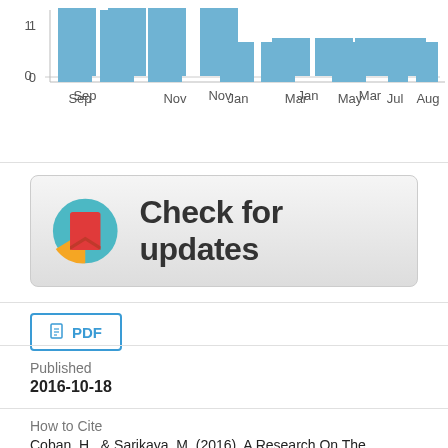[Figure (bar-chart): Monthly activity chart]
[Figure (infographic): Check for updates badge with circular icon and text]
PDF
Published
2016-10-18
How to Cite
Coban, H., & Sarikaya, M. (2016). A Research On The Relationship